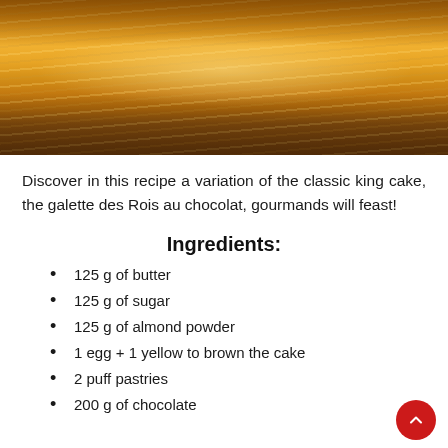[Figure (photo): A golden, flaky puff pastry galette des Rois (king cake) resting on a wooden cutting board, showing layered pastry texture with golden-brown coloring.]
Discover in this recipe a variation of the classic king cake, the galette des Rois au chocolat, gourmands will feast!
Ingredients:
125 g of butter
125 g of sugar
125 g of almond powder
1 egg + 1 yellow to brown the cake
2 puff pastries
200 g of chocolate